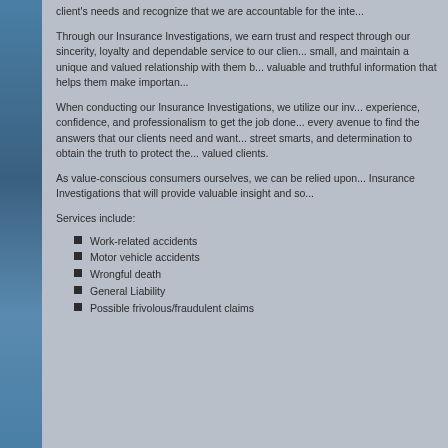client's needs and recognize that we are accountable for the inte...
Through our Insurance Investigations, we earn trust and respect through our sincerity, loyalty and dependable service to our clients small, and maintain a unique and valued relationship with them by valuable and truthful information that helps them make important...
When conducting our Insurance Investigations, we utilize our inv... experience, confidence, and professionalism to get the job done every avenue to find the answers that our clients need and want... street smarts, and determination to obtain the truth to protect the valued clients.
As value-conscious consumers ourselves, we can be relied upon Insurance Investigations that will provide valuable insight and so...
Services include:
Work-related accidents
Motor vehicle accidents
Wrongful death
General Liability
Possible frivolous/fraudulent claims